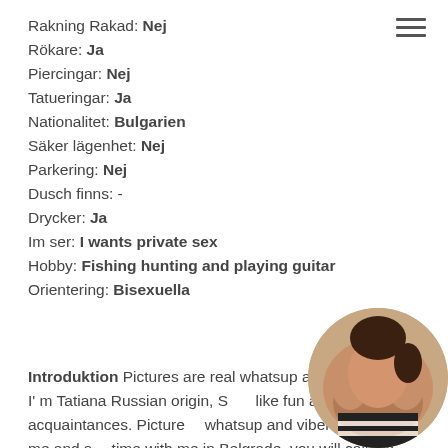Rakning Rakad: Nej
Rökare: Ja
Piercingar: Nej
Tatueringar: Ja
Nationalitet: Bulgarien
Säker lägenhet: Nej
Parkering: Nej
Dusch finns: -
Drycker: Ja
Im ser: I wants private sex
Hobby: Fishing hunting and playing guitar
Orientering: Bisexuella
Introduktion Pictures are real whatsup and contact Hi, I' m Tatiana Russian origin, S... like fun and new acquaintances. Pictures... whatsup and viber contact Call me and s... time with me in Belgrade, you will call me again. I can ...
[Figure (photo): Circular cropped photo of a person]